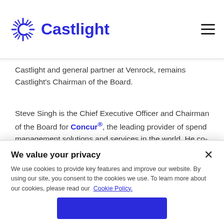Castlight
Castlight and general partner at Venrock, remains Castlight’s Chairman of the Board.
Steve Singh is the Chief Executive Officer and Chairman of the Board for Concur®, the leading provider of spend management solutions and services in the world. He co-founded the company, has served as Concur’s CEO since 1996 and director since 1993, and has served as chairman of the Board of Directors since September 1999. A proven industry leader, over the past 20 years, Singh and his team
We value your privacy
We use cookies to provide key features and improve our website. By using our site, you consent to the cookies we use. To learn more about our cookies, please read our Cookie Policy.